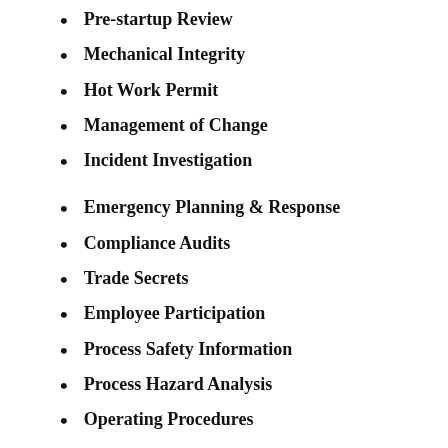Pre-startup Review
Mechanical Integrity
Hot Work Permit
Management of Change
Incident Investigation
Emergency Planning & Response
Compliance Audits
Trade Secrets
Employee Participation
Process Safety Information
Process Hazard Analysis
Operating Procedures
However, OSHA acknowledges a few situations or industries that would exempt a company from the PSM requirements. This includes retail facilities, remote facilities that are normally unoccupied, and oil or gas